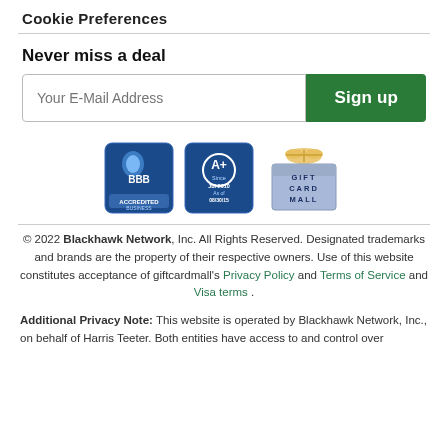Cookie Preferences
Never miss a deal
[Figure (other): Email signup form with text input 'Your E-Mail Address' and green 'Sign up' button]
[Figure (other): BBB Accredited Business badge, A+ rating since Jul 2010 as of 08/30/15, and Gift Card Mall logo]
© 2022 Blackhawk Network, Inc. All Rights Reserved. Designated trademarks and brands are the property of their respective owners. Use of this website constitutes acceptance of giftcardmall's Privacy Policy and Terms of Service and Visa terms .
Additional Privacy Note: This website is operated by Blackhawk Network, Inc., on behalf of Harris Teeter. Both entities have access to and control over